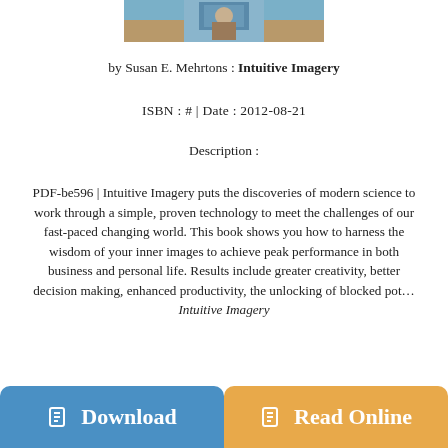[Figure (photo): Book cover image for Intuitive Imagery, showing a person and background scene]
by Susan E. Mehrtons : Intuitive Imagery
ISBN : # | Date : 2012-08-21
Description :
PDF-be596 | Intuitive Imagery puts the discoveries of modern science to work through a simple, proven technology to meet the challenges of our fast-paced changing world. This book shows you how to harness the wisdom of your inner images to achieve peak performance in both business and personal life. Results include greater creativity, better decision making, enhanced productivity, the unlocking of blocked pot... Intuitive Imagery
Download
Read Online